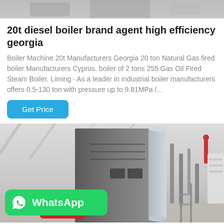[Figure (photo): Partial top image strip showing industrial equipment, cropped at top of page]
20t diesel boiler brand agent high efficiency georgia
Boiler Machine 20t Manufacturers Georgia 20 ton Natural Gas fired boiler Manufacturers Cyprus. boiler of 2 tons 255 Gas Oil Fired Steam Boiler. Liming · As a leader in industrial boiler manufacturers offers 0.5-130 ton with pressure up to 9.81MPa /...
Get Price
[Figure (photo): Industrial boiler installation inside a factory building, large grey cylindrical boiler with red burner components, pipes and scaffolding visible, WhatsApp badge overlay in bottom-left corner]